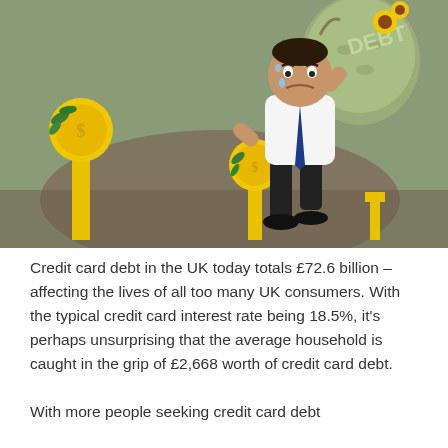[Figure (illustration): Cartoon illustration of a man in a white shirt and dark trousers, bent over under the weight of a large sack labelled 'DEBT', reaching toward yellow coin/money objects on posts. Background is muted green and brown tones.]
Credit card debt in the UK today totals £72.6 billion – affecting the lives of all too many UK consumers. With the typical credit card interest rate being 18.5%, it's perhaps unsurprising that the average household is caught in the grip of £2,668 worth of credit card debt.
With more people seeking credit card debt